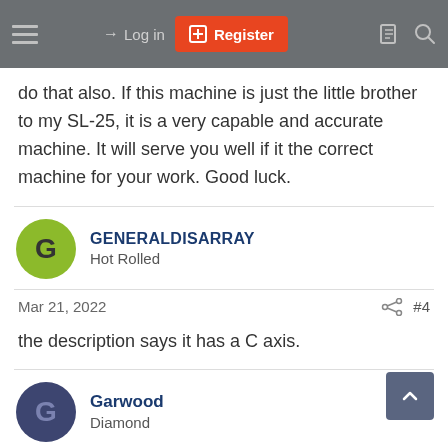≡  → Log in  [+] Register
do that also. If this machine is just the little brother to my SL-25, it is a very capable and accurate machine. It will serve you well if it the correct machine for your work. Good luck.
GENERALDISARRAY
Hot Rolled
Mar 21, 2022  #4
the description says it has a C axis.
Garwood
Diamond
Mar 21, 2022  #5